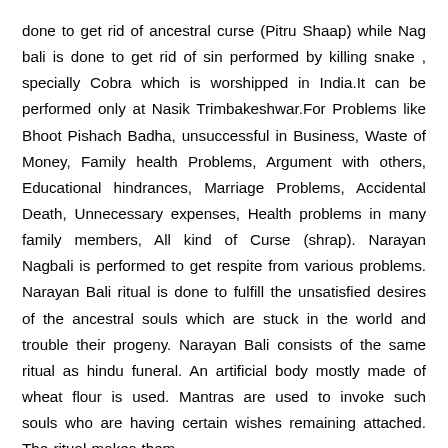done to get rid of ancestral curse (Pitru Shaap) while Nag bali is done to get rid of sin performed by killing snake , specially Cobra which is worshipped in India.It can be performed only at Nasik Trimbakeshwar.For Problems like Bhoot Pishach Badha, unsuccessful in Business, Waste of Money, Family health Problems, Argument with others, Educational hindrances, Marriage Problems, Accidental Death, Unnecessary expenses, Health problems in many family members, All kind of Curse (shrap). Narayan Nagbali is performed to get respite from various problems. Narayan Bali ritual is done to fulfill the unsatisfied desires of the ancestral souls which are stuck in the world and trouble their progeny. Narayan Bali consists of the same ritual as hindu funeral. An artificial body mostly made of wheat flour is used. Mantras are used to invoke such souls who are having certain wishes remaining attached. The ritual makes them